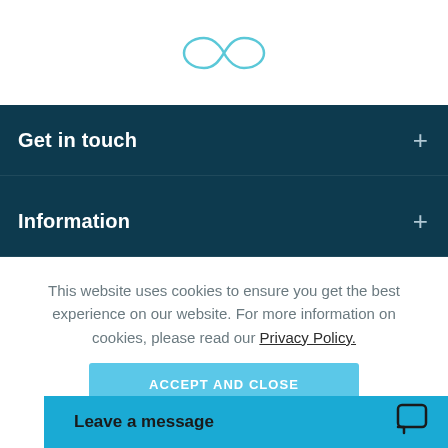[Figure (logo): Teal/cyan infinity symbol logo centered at top of page]
Get in touch
Information
This website uses cookies to ensure you get the best experience on our website. For more information on cookies, please read our Privacy Policy.
ACCEPT AND CLOSE
Leave a message